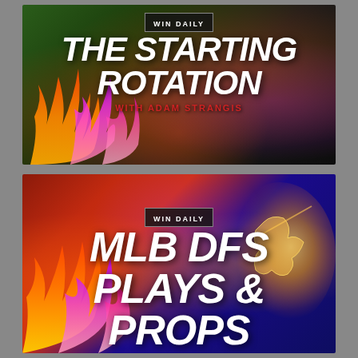[Figure (illustration): Win Daily 'The Starting Rotation with Adam Strangis' promotional banner with dark background, baseball imagery, and colorful flame/smoke effects in orange, red, purple, and pink]
[Figure (illustration): Win Daily 'MLB DFS Plays & Props' promotional banner with red-to-blue split background, colorful flame effects on left (orange/purple), and glowing baseball batter on right]